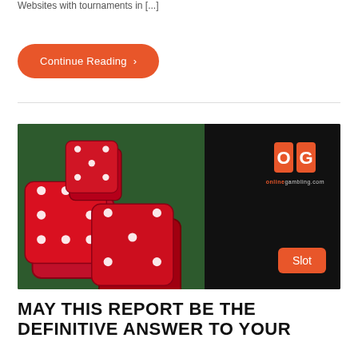Websites with tournaments in [...]
Continue Reading ›
[Figure (photo): Three red dice stacked on green felt surface, with OG (OnlineGambling.com) logo in top right and 'Slot' badge in bottom right corner]
MAY THIS REPORT BE THE DEFINITIVE ANSWER TO YOUR